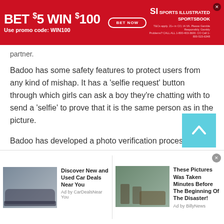[Figure (screenshot): Red advertising banner: BET $5 WIN $100, Use promo code: WIN100, with BET NOW button and SI Sports Illustrated Sportsbook logo]
partner.
Badoo has some safety features to protect users from any kind of mishap. It has a 'selfie request' button through which girls can ask a boy they're chatting with to send a 'selfie' to prove that it is the same person as in the picture.
Badoo has developed a photo verification process, that allows users to upload their photo in order to verify that they are real.
[Figure (screenshot): Bottom advertisement strip with two ads: 'Discover New and Used Car Deals Near You' by CarDealsNearYou, and 'These Pictures Was Taken Minutes Before The Beginning Of The Disaster!' by BillyNews]